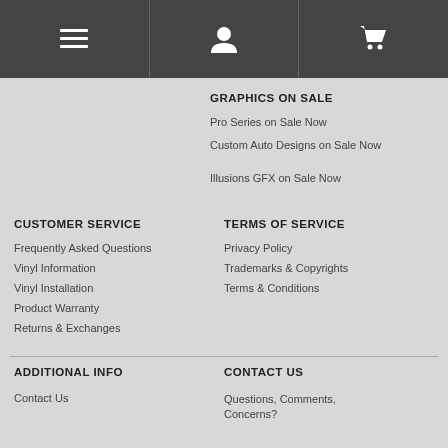Navigation bar with menu, user, and cart icons
GRAPHICS ON SALE
Pro Series on Sale Now
Custom Auto Designs on Sale Now
Illusions GFX on Sale Now
CUSTOMER SERVICE
Frequently Asked Questions
Vinyl Information
Vinyl Installation
Product Warranty
Returns & Exchanges
TERMS OF SERVICE
Privacy Policy
Trademarks & Copyrights
Terms & Conditions
ADDITIONAL INFO
Contact Us
CONTACT US
Questions, Comments, Concerns?